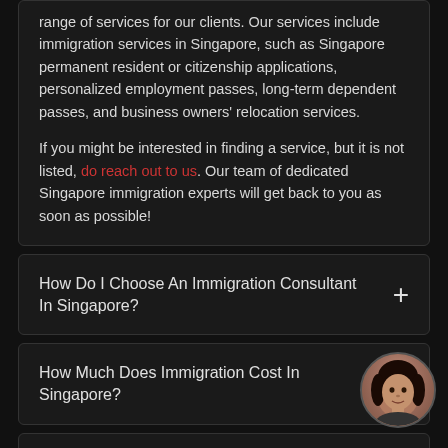range of services for our clients. Our services include immigration services in Singapore, such as Singapore permanent resident or citizenship applications, personalized employment passes, long-term dependent passes, and business owners' relocation services.

If you might be interested in finding a service, but it is not listed, do reach out to us. Our team of dedicated Singapore immigration experts will get back to you as soon as possible!
How Do I Choose An Immigration Consultant In Singapore?
How Much Does Immigration Cost In Singapore?
What Is The Immigration Process For Singapore?
Can I Increase My Chances Of Application Through An Immigration Agency In Singapore?